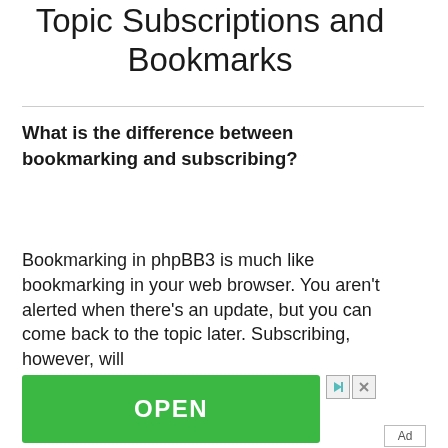Topic Subscriptions and Bookmarks
What is the difference between bookmarking and subscribing?
Bookmarking in phpBB3 is much like bookmarking in your web browser. You aren't alerted when there's an update, but you can come back to the topic later. Subscribing, however, will
[Figure (other): Green OPEN button advertisement banner for Linhdor Premium Access Doors with ad controls (play and close buttons)]
Linhdor Premium Access Doors
Ad